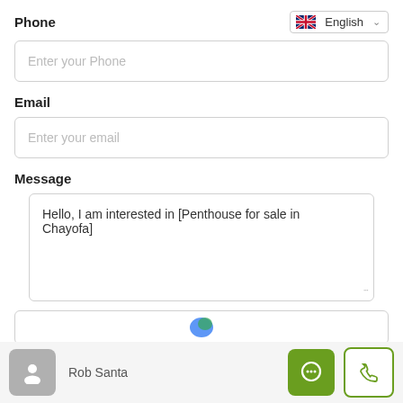Phone
[Figure (screenshot): Language selector dropdown showing UK flag and 'English' with chevron]
Enter your Phone
Email
Enter your email
Message
Hello, I am interested in [Penthouse for sale in Chayofa]
[Figure (screenshot): Partial reCAPTCHA widget with blue logo visible]
Rob Santa